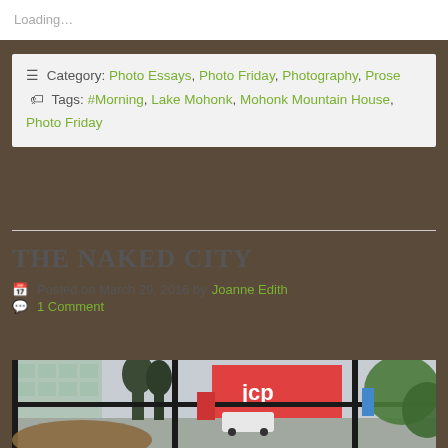Loading…
Category: Photo Essays, Photo Friday, Photography, Prose  Tags: #Morning, Lake Mohonk, Mohonk Mountain House, Photo Friday
THE NAKED CITY
Posted on March 29, 2016 by Joanne Edith
1 Comment
[Figure (photo): View through a window of an urban street scene with buildings including a JCP store, trees, plants in foreground, snowy conditions]